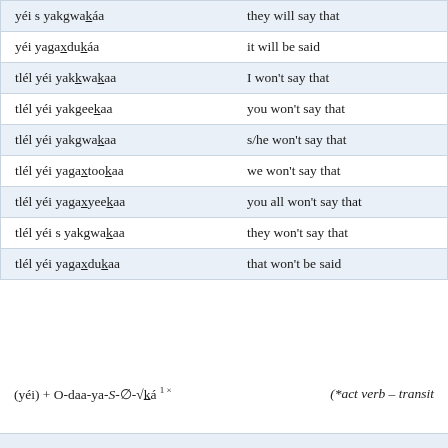| Tlingit | English |
| --- | --- |
| yéi s yakgwakáa | they will say that |
| yéi yagaxdukáa | it will be said |
| tlél yéi yakkwakaa | I won't say that |
| tlél yéi yakgeekaa | you won't say that |
| tlél yéi yakgwakaa | s/he won't say that |
| tlél yéi yagaxtookaa | we won't say that |
| tlél yéi yagaxyeekaa | you all won't say that |
| tlél yéi s yakgwakaa | they won't say that |
| tlél yéi yagaxdukaa | that won't be said |
(*act verb – transit